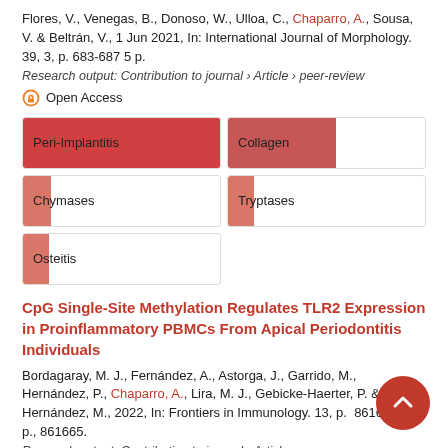Flores, V., Venegas, B., Donoso, W., Ulloa, C., Chaparro, A., Sousa, V. & Beltrán, V., 1 Jun 2021, In: International Journal of Morphology. 39, 3, p. 683-687 5 p.
Research output: Contribution to journal › Article › peer-review
Open Access
Peri-Implantitis
Collagen
Chymases
Tryptases
Osteitis
CpG Single-Site Methylation Regulates TLR2 Expression in Proinflammatory PBMCs From Apical Periodontitis Individuals
Bordagaray, M. J., Fernández, A., Astorga, J., Garrido, M., Hernández, P., Chaparro, A., Lira, M. J., Gebicke-Haerter, P. & Hernández, M., 2022, In: Frontiers in Immunology. 13, p. 861665 1 p., 861665.
Research output: Contribution to journal › Article › peer-review
Open Access